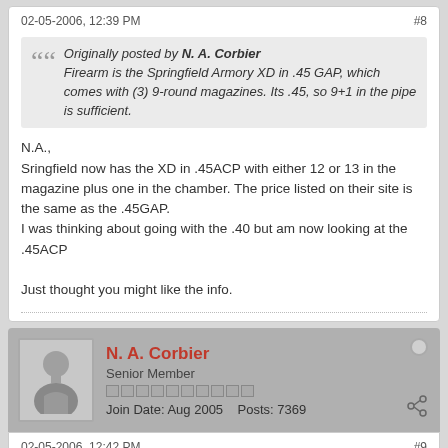02-05-2006, 12:39 PM
#8
Originally posted by N. A. Corbier
Firearm is the Springfield Armory XD in .45 GAP, which comes with (3) 9-round magazines. Its .45, so 9+1 in the pipe is sufficient.
N.A.,
Sringfield now has the XD in .45ACP with either 12 or 13 in the magazine plus one in the chamber. The price listed on their site is the same as the .45GAP.
I was thinking about going with the .40 but am now looking at the .45ACP

Just thought you might like the info.
N. A. Corbier
Senior Member
Join Date: Aug 2005    Posts: 7369
02-05-2006, 12:42 PM
#9
Originally posted by ACP01
N.A.,